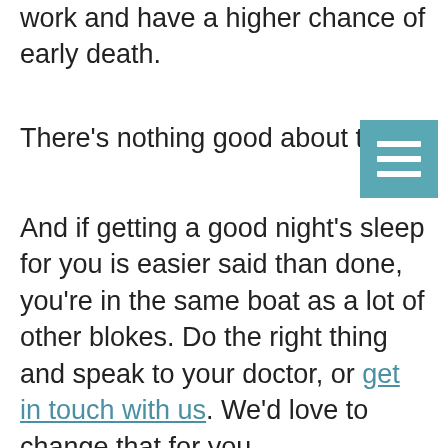work and have a higher chance of early death.
There's nothing good about tho
And if getting a good night's sleep for you is easier said than done, you're in the same boat as a lot of other blokes. Do the right thing and speak to your doctor, or get in touch with us. We'd love to change that for you.
Man up, and sleep well.
-
Source: https://www.forbes.com/sites/alisonescalante/2020/10/05/real-men-dont-